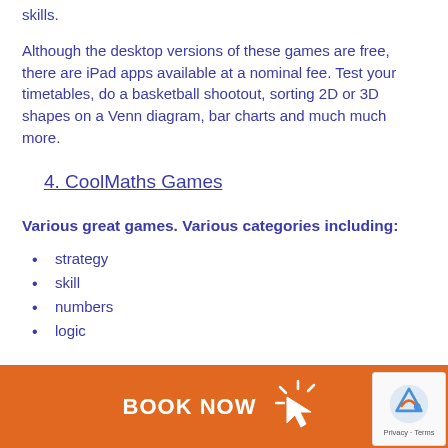skills.
Although the desktop versions of these games are free, there are iPad apps available at a nominal fee. Test your timetables, do a basketball shootout, sorting 2D or 3D shapes on a Venn diagram, bar charts and much much more.
4. CoolMaths Games
Various great games. Various categories including:
strategy
skill
numbers
logic
BOOK NOW